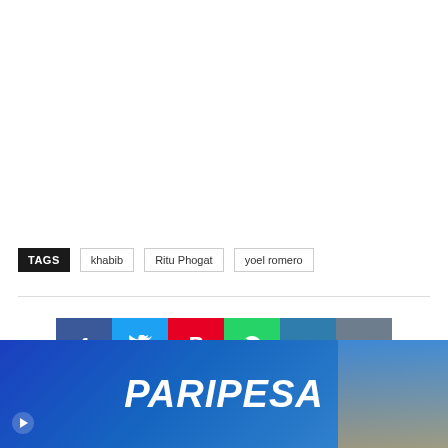TAGS  khabib  Ritu Phogat  yoel romero
[Figure (infographic): Social sharing buttons row: Facebook (dark blue), Twitter (light blue), Pinterest (red), WhatsApp (green), LinkedIn (dark teal), Tumblr (gray-blue)]
[Figure (infographic): PARIPESA advertisement banner with blue gradient background and italic bold white text 'PARIPESA', with a female figure on the right side]